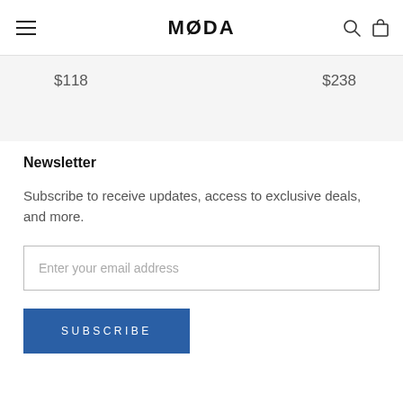MØDA
$118
$238
Newsletter
Subscribe to receive updates, access to exclusive deals, and more.
Enter your email address
SUBSCRIBE